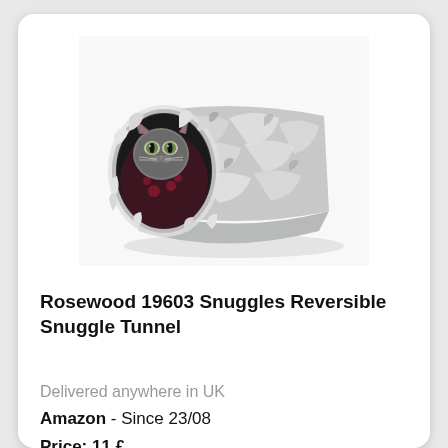[Figure (photo): A cat peeking out from inside a cylindrical fur-covered reversible snuggle tunnel toy. The tunnel is grey and white faux fur with red/maroon paw print pattern fabric visible inside. The cat's face is visible at the opening.]
Rosewood 19603 Snuggles Reversible Snuggle Tunnel
Delivered anywhere in UK
Amazon - Since 23/08
Price: 11 £
Product condition: New
See details